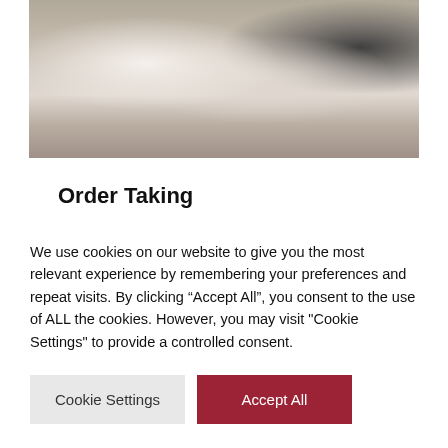[Figure (photo): Customer service representatives working at desks with laptops and headsets in an office setting]
Order Taking
Order entry specialists can manage your
We use cookies on our website to give you the most relevant experience by remembering your preferences and repeat visits. By clicking “Accept All”, you consent to the use of ALL the cookies. However, you may visit "Cookie Settings" to provide a controlled consent.